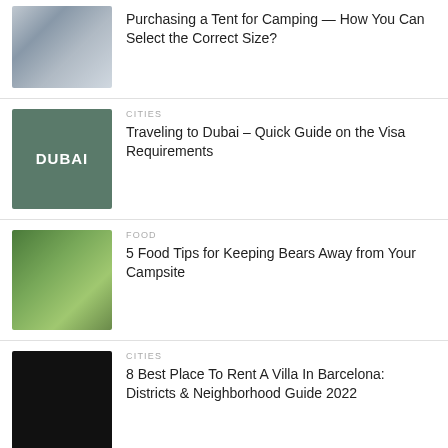[Figure (photo): Tent/camping shelter structure photo]
Purchasing a Tent for Camping — How You Can Select the Correct Size?
[Figure (photo): Dubai city guide book cover with bold DUBAI text]
CITIES
Traveling to Dubai – Quick Guide on the Visa Requirements
[Figure (photo): Camping scene with person and tent in forest]
FOOD
5 Food Tips for Keeping Bears Away from Your Campsite
[Figure (photo): Black/dark image placeholder]
CITIES
8 Best Place To Rent A Villa In Barcelona: Districts & Neighborhood Guide 2022